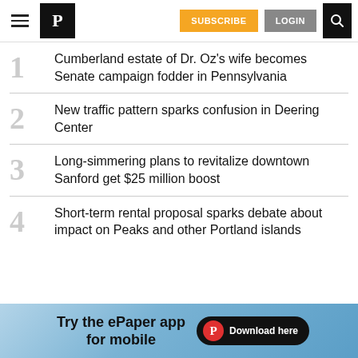P | SUBSCRIBE | LOGIN | [search]
Cumberland estate of Dr. Oz's wife becomes Senate campaign fodder in Pennsylvania
New traffic pattern sparks confusion in Deering Center
Long-simmering plans to revitalize downtown Sanford get $25 million boost
Short-term rental proposal sparks debate about impact on Peaks and other Portland islands
[Figure (infographic): Advertisement banner: Try the ePaper app for mobile. Download here.]